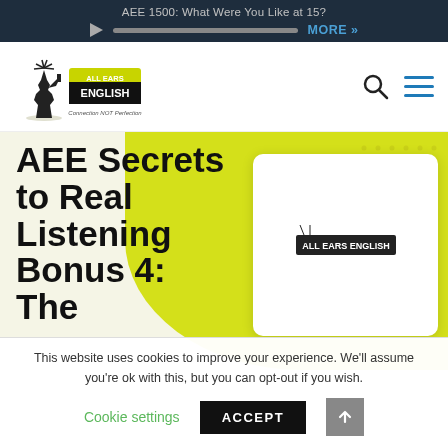AEE 1500: What Were You Like at 15?
[Figure (logo): All Ears English logo with Statue of Liberty illustration and tagline 'Connection NOT Perfection']
AEE Secrets to Real Listening Bonus 4: The
[Figure (logo): All Ears English small logo on white card]
This website uses cookies to improve your experience. We'll assume you're ok with this, but you can opt-out if you wish.
Cookie settings   ACCEPT